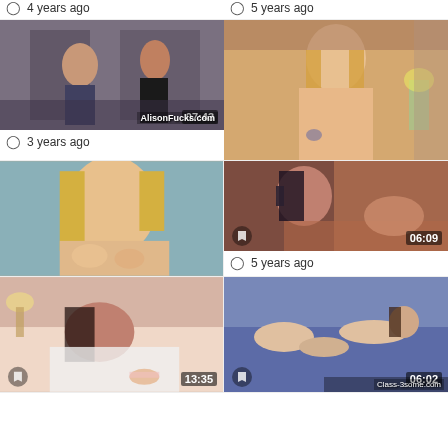4 years ago
5 years ago
[Figure (photo): Video thumbnail showing two people in hallway, duration 07:43, watermark AlisonFucks.com]
3 years ago
[Figure (photo): Video thumbnail showing blonde woman, no duration shown]
[Figure (photo): Video thumbnail showing blonde woman close-up, no duration shown]
[Figure (photo): Video thumbnail, duration 06:09]
5 years ago
[Figure (photo): Video thumbnail, duration 13:35]
[Figure (photo): Video thumbnail showing group on bed, duration 06:02, watermark Class-3some.com]